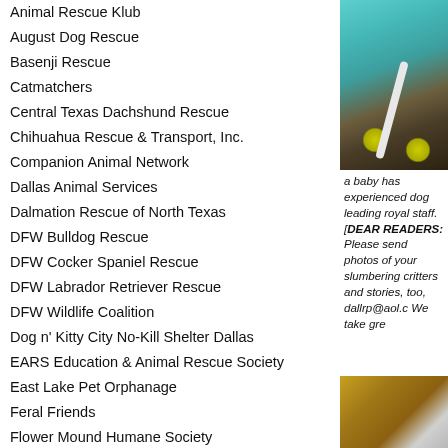Animal Rescue Klub
August Dog Rescue
Basenji Rescue
Catmatchers
Central Texas Dachshund Rescue
Chihuahua Rescue & Transport, Inc.
Companion Animal Network
Dallas Animal Services
Dalmation Rescue of North Texas
DFW Bulldog Rescue
DFW Cocker Spaniel Rescue
DFW Labrador Retriever Rescue
DFW Wildlife Coalition
Dog n' Kitty City No-Kill Shelter Dallas
EARS Education & Animal Rescue Society
East Lake Pet Orphanage
Feral Friends
Flower Mound Humane Society
Frisco Humane Society
Ft. Worth Animal Care & Control
Gentle Giants Rescue
[Figure (photo): Close-up photo of animal toys or accessories including teal/turquoise colored items and a yellow-green round objects with a white tube, on dark background]
a baby has experienced dog leading royal staff. [DEAR READERS: Please send photos of your slumbering critters and stories, too, dallrp@aol.c We take gre
[Figure (photo): Bottom photo partially visible showing brown/golden tones]